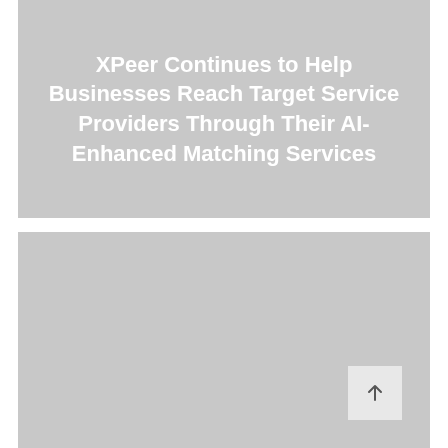XPeer Continues to Help Businesses Reach Target Service Providers Through Their AI-Enhanced Matching Services
[Figure (photo): A gray placeholder image in the lower half of the page, with a scroll-to-top arrow button in the bottom-right corner.]